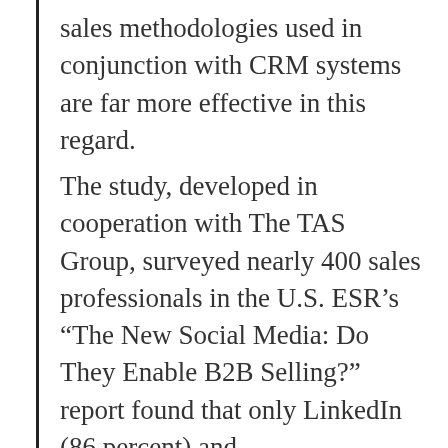sales methodologies used in conjunction with CRM systems are far more effective in this regard.
The study, developed in cooperation with The TAS Group, surveyed nearly 400 sales professionals in the U.S. ESR’s “The New Social Media: Do They Enable B2B Selling?” report found that only LinkedIn (86 percent) and Hoovers/OneSource combined (61 percent) were used by more than half of respondents in their selling efforts. Facebook (50 percent), Plaxo (48 percent), Twitter (31 percent), and Jigsaw (26 percent)